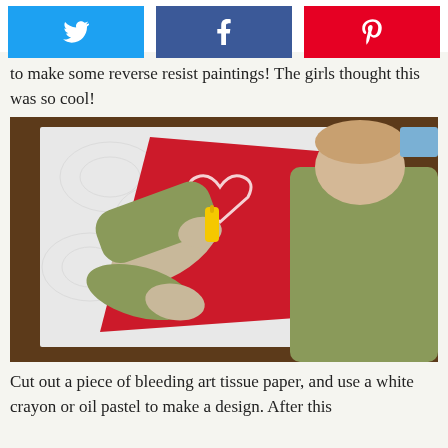[Figure (other): Social share buttons: Twitter (blue), Facebook (blue), Pinterest (red)]
to make some reverse resist paintings! The girls thought this was so cool!
[Figure (photo): Photo of a child in a green long-sleeve shirt applying glue from a bottle onto red paper that is placed on top of textured white paper, on a wooden table. The child is working on a reverse resist painting project.]
Cut out a piece of bleeding art tissue paper, and use a white crayon or oil pastel to make a design. After this